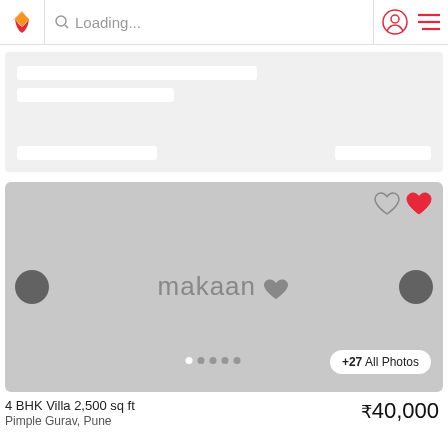Loading...
[Figure (screenshot): Skeleton loading card placeholder with white bars on light gray background]
[Figure (photo): Property image placeholder showing makaan.com logo on gray background with navigation arrows, heart icons, photo dots and +27 All Photos button]
4 BHK Villa 2,500 sq ft
₹40,000
Pimple Gurav, Pune